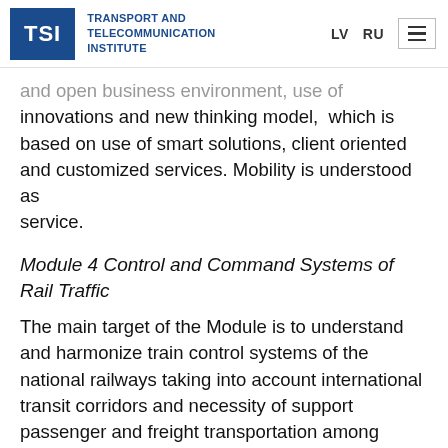TSI | TRANSPORT AND TELECOMMUNICATION INSTITUTE | LV  RU
and open business environment, use of innovations and new thinking model,  which is based on use of smart solutions, client oriented and customized services. Mobility is understood as service.
Module 4 Control and Command Systems of Rail Traffic
The main target of the Module is to understand and harmonize train control systems of the national railways taking into account international transit corridors and necessity of support passenger and freight transportation among countries. The Module...